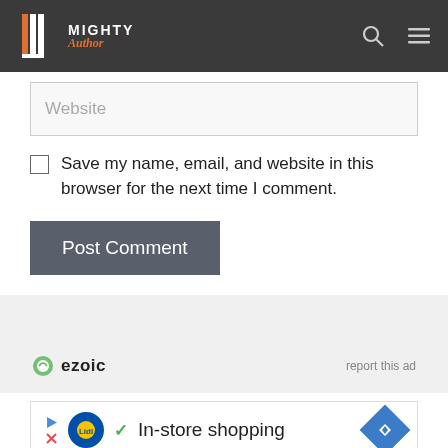Mighty Author
Website
Save my name, email, and website in this browser for the next time I comment.
Post Comment
[Figure (logo): ezoic logo with circular icon]
report this ad
[Figure (screenshot): Ad banner: Lidl logo, In-store shopping text with checkmark, blue diamond arrow icon]